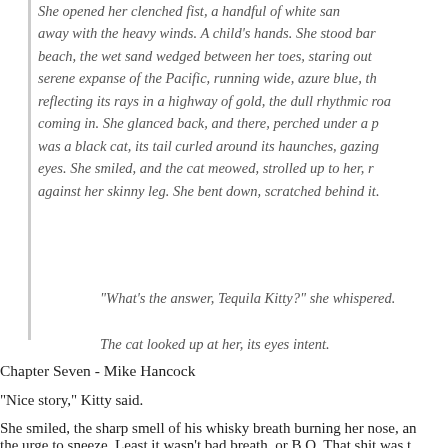She opened her clenched fist, a handful of white sand blew away with the heavy winds. A child’s hands. She stood barefoot on the beach, the wet sand wedged between her toes, staring out at the serene expanse of the Pacific, running wide, azure blue, the sun reflecting its rays in a highway of gold, the dull rhythmic roar of waves coming in. She glanced back, and there, perched under a palm tree was a black cat, its tail curled around its haunches, gazing at her with eyes. She smiled, and the cat meowed, strolled up to her, rubbing against her skinny leg. She bent down, scratched behind it.
“What’s the answer, Tequila Kitty?” she whispered.
The cat looked up at her, its eyes intent.
Chapter Seven - Mike Hancock
“Nice story,” Kitty said.
She smiled, the sharp smell of his whisky breath burning her nose, and the urge to sneeze. Least it wasn’t bad breath, or B.O. That shit was t…